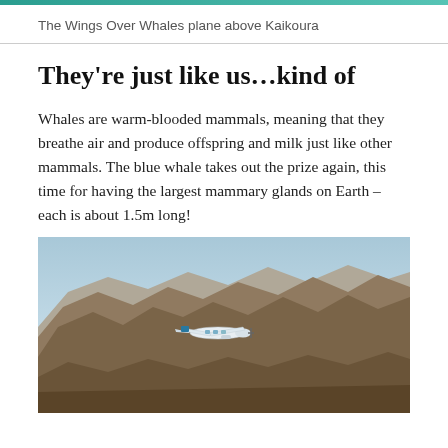The Wings Over Whales plane above Kaikoura
They’re just like us…kind of
Whales are warm-blooded mammals, meaning that they breathe air and produce offspring and milk just like other mammals. The blue whale takes out the prize again, this time for having the largest mammary glands on Earth – each is about 1.5m long!
[Figure (photo): A small white and blue plane (Wings Over Whales) flying over rugged brown mountain ranges near Kaikoura, New Zealand, with a blue sky background.]